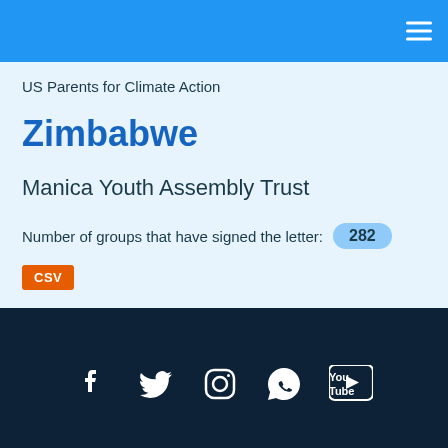US Parents for Climate Action
Zimbabwe
Manica Youth Assembly Trust
Number of groups that have signed the letter: 282
CSV
[Figure (infographic): Social media icons row: Facebook, Twitter, Instagram, WhatsApp, YouTube on dark navy footer]